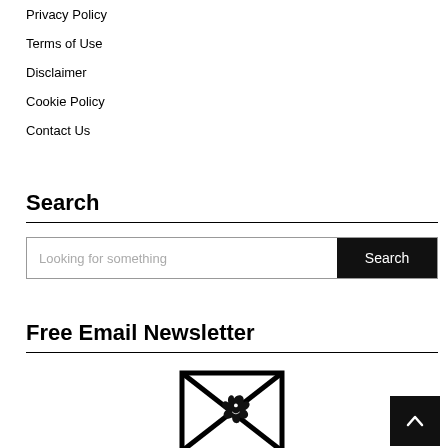Privacy Policy
Terms of Use
Disclaimer
Cookie Policy
Contact Us
Search
Looking for something
Search
Free Email Newsletter
[Figure (illustration): Email newsletter envelope icon with decorative bird/lion illustration inside]